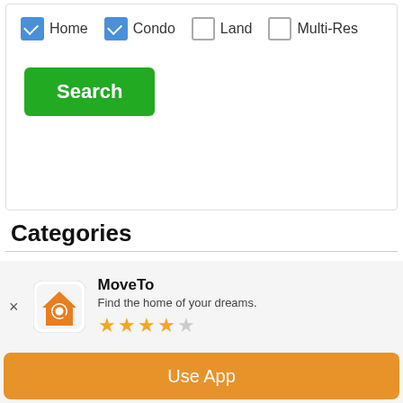[Figure (screenshot): Search filter with checkboxes for Home (checked), Condo (checked), Land (unchecked), Multi-Res (unchecked) and a green Search button]
Categories
Charleston Economic Trends
Charleston Events
Charleston Restaurant Scene
Charleston, SC Beaches
Charleston, SC Home Value Trends
Charleston, SC Info
Charleston, SC Real Estate Trends
Charleston, SC Vacation and
Daniel Island, SC
[Figure (screenshot): MoveTo app banner with icon, name 'MoveTo', tagline 'Find the home of your dreams.', 3.5 star rating, and orange 'Use App' button]